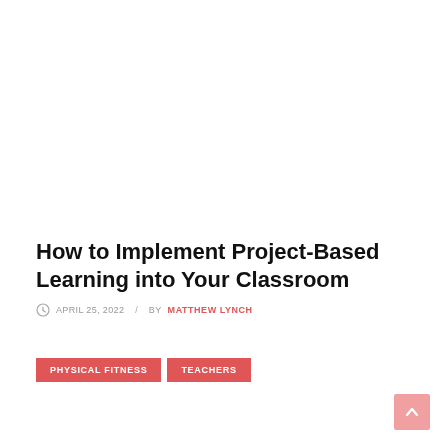How to Implement Project-Based Learning into Your Classroom
APRIL 25, 2022  /  BY MATTHEW LYNCH
PHYSICAL FITNESS
TEACHERS